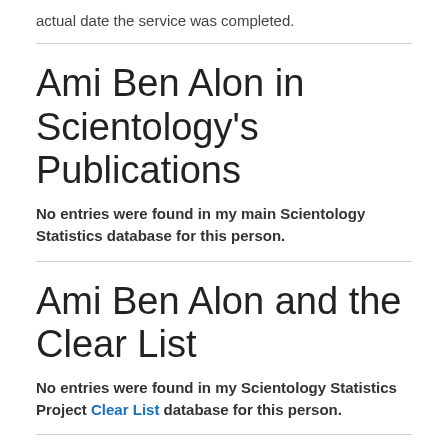actual date the service was completed.
Ami Ben Alon in Scientology's Publications
No entries were found in my main Scientology Statistics database for this person.
Ami Ben Alon and the Clear List
No entries were found in my Scientology Statistics Project Clear List database for this person.
Ami Ben Alon and Scientologist Online Sites